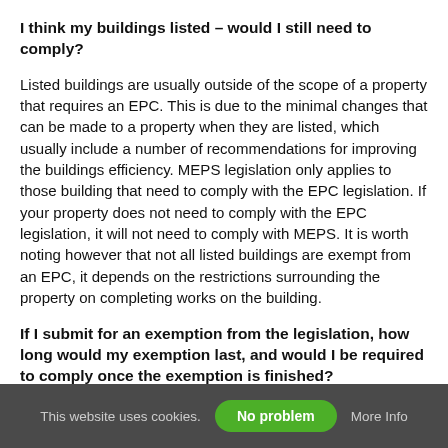I think my buildings listed – would I still need to comply?
Listed buildings are usually outside of the scope of a property that requires an EPC. This is due to the minimal changes that can be made to a property when they are listed, which usually include a number of recommendations for improving the buildings efficiency. MEPS legislation only applies to those building that need to comply with the EPC legislation. If your property does not need to comply with the EPC legislation, it will not need to comply with MEPS. It is worth noting however that not all listed buildings are exempt from an EPC, it depends on the restrictions surrounding the property on completing works on the building.
If I submit for an exemption from the legislation, how long would my exemption last, and would I be required to comply once the exemption is finished?
This website uses cookies. No problem More Info